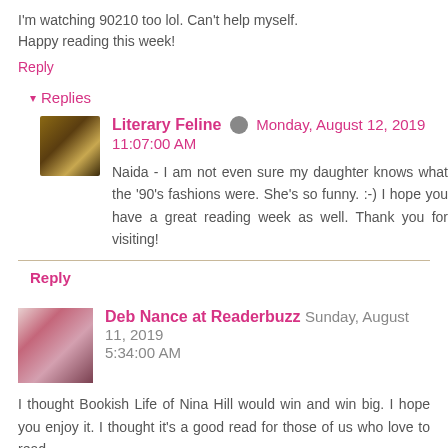I'm watching 90210 too lol. Can't help myself. Happy reading this week!
Reply
▾ Replies
Literary Feline  Monday, August 12, 2019 11:07:00 AM
Naida - I am not even sure my daughter knows what the '90's fashions were. She's so funny. :-) I hope you have a great reading week as well. Thank you for visiting!
Reply
Deb Nance at Readerbuzz  Sunday, August 11, 2019 5:34:00 AM
I thought Bookish Life of Nina Hill would win and win big. I hope you enjoy it. I thought it's a good read for those of us who love to read.